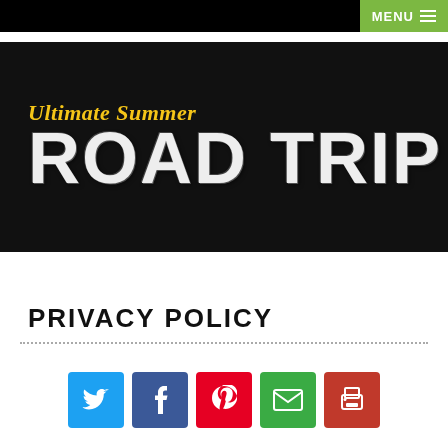MENU
[Figure (logo): Ultimate Summer ROAD TRIP logo on black background with yellow script and large white distressed bold lettering]
PRIVACY POLICY
[Figure (infographic): Social sharing icons row: Twitter (blue), Facebook (dark blue), Pinterest (red), Email (green), Print (dark red)]